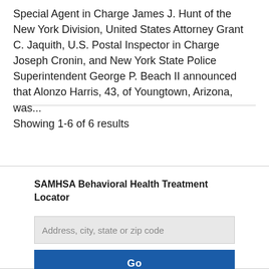Special Agent in Charge James J. Hunt of the New York Division, United States Attorney Grant C. Jaquith, U.S. Postal Inspector in Charge Joseph Cronin, and New York State Police Superintendent George P. Beach II announced that Alonzo Harris, 43, of Youngtown, Arizona, was...
Showing 1-6 of 6 results
SAMHSA Behavioral Health Treatment Locator
Address, city, state or zip code
Go